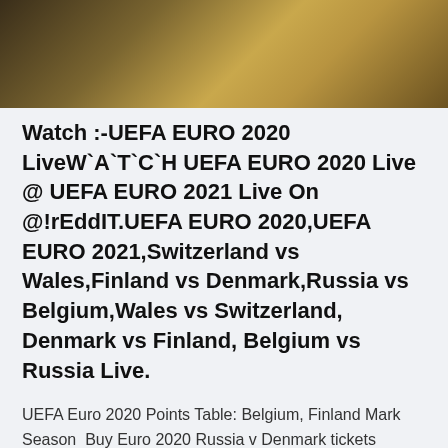[Figure (photo): Dark blurred photo banner showing a person or object with warm golden/brown tones, cropped at top.]
Watch :-UEFA EURO 2020 LiveW`A`T`C`H UEFA EURO 2020 Live @ UEFA EURO 2021 Live On @!rEddIT.UEFA EURO 2020,UEFA EURO 2021,Switzerland vs Wales,Finland vs Denmark,Russia vs Belgium,Wales vs Switzerland, Denmark vs Finland, Belgium vs Russia Live.
UEFA Euro 2020 Points Table: Belgium, Finland Mark Season  Buy Euro 2020 Russia v Denmark tickets securely online for the exciting match at Denmark vs Russia live streaming: Watch UEFA European Under-21 championship Qualifving Games here on Euro 2019 result